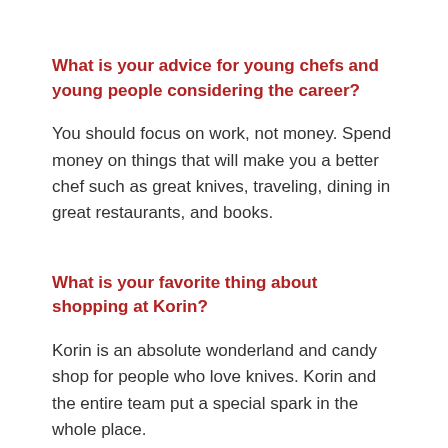What is your advice for young chefs and young people considering the career?
You should focus on work, not money. Spend money on things that will make you a better chef such as great knives, traveling, dining in great restaurants, and books.
What is your favorite thing about shopping at Korin?
Korin is an absolute wonderland and candy shop for people who love knives. Korin and the entire team put a special spark in the whole place.